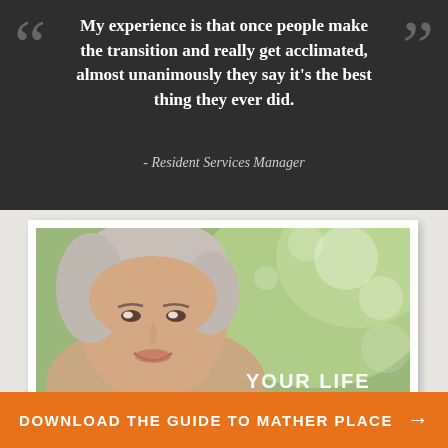My experience is that once people make the transition and really get acclimated, almost unanimously they say it's the best thing they ever did.
- Resident Services Manager
[Figure (photo): Smiling elderly woman with gray hair against a green bokeh background, with text 'YOUR LIFE' overlaid at bottom right]
DOWNLOAD THE GUIDE TO MATHER PLACE →